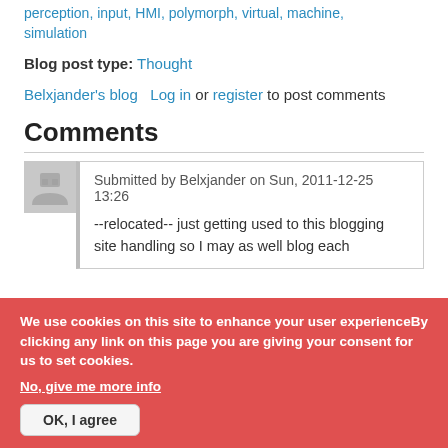perception, input, HMI, polymorph, virtual, machine, simulation
Blog post type: Thought
Belxjander's blog   Log in or register to post comments
Comments
Submitted by Belxjander on Sun, 2011-12-25 13:26

--relocated-- just getting used to this blogging site handling so I may as well blog each
We use cookies on this site to enhance your user experienceBy clicking any link on this page you are giving your consent for us to set cookies. No, give me more info
OK, I agree